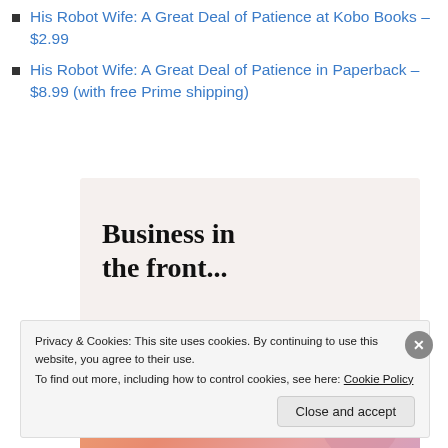His Robot Wife: A Great Deal of Patience at Kobo Books – $2.99
His Robot Wife: A Great Deal of Patience in Paperback – $8.99 (with free Prime shipping)
[Figure (illustration): Advertisement image split into two sections: top section on light beige background with bold text 'Business in the front...', bottom section with warm gradient (orange/pink/mauve) background with bold text 'WordPress in the back.' with decorative circles.]
Privacy & Cookies: This site uses cookies. By continuing to use this website, you agree to their use. To find out more, including how to control cookies, see here: Cookie Policy
Close and accept